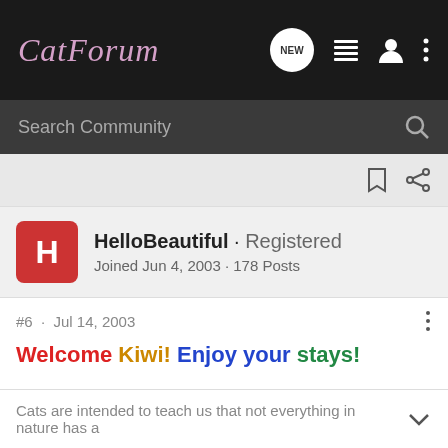CatForum
Search Community
HelloBeautiful · Registered
Joined Jun 4, 2003 · 178 Posts
#6 · Jul 14, 2003
Welcome Kiwi! Enjoy your stays!
Cats are intended to teach us that not everything in nature has a